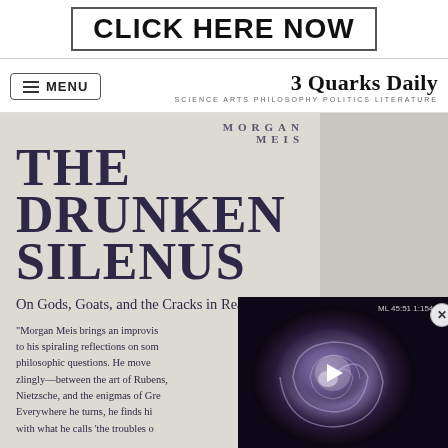[Figure (other): Advertisement banner with text CLICK HERE NOW in a bordered box]
MENU | 3 Quarks Daily — SCIENCE ARTS PHILOSOPHY POLITICS LITERATURE
[Figure (photo): Book cover of 'The Drunken Silenus: On Gods, Goats, and the Cracks in Reality' by Morgan Meis, with a blurb excerpt visible, and a video player overlay on the right showing a spiral medical scan image with a play button.]